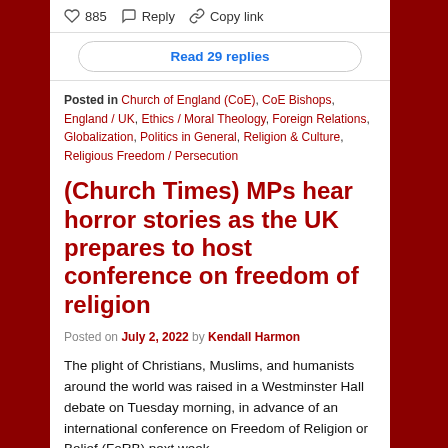[Figure (screenshot): Social media interaction bar showing heart icon with 885 likes, reply icon with 'Reply' label, and chain link icon with 'Copy link' label]
Read 29 replies
Posted in Church of England (CoE), CoE Bishops, England / UK, Ethics / Moral Theology, Foreign Relations, Globalization, Politics in General, Religion & Culture, Religious Freedom / Persecution
(Church Times) MPs hear horror stories as the UK prepares to host conference on freedom of religion
Posted on July 2, 2022 by Kendall Harmon
The plight of Christians, Muslims, and humanists around the world was raised in a Westminster Hall debate on Tuesday morning, in advance of an international conference on Freedom of Religion or Belief (FoRB) next week.